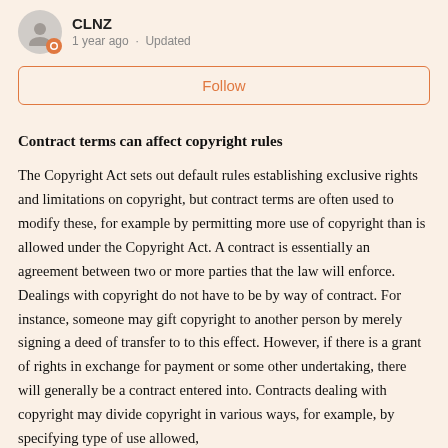CLNZ
1 year ago · Updated
Follow
Contract terms can affect copyright rules
The Copyright Act sets out default rules establishing exclusive rights and limitations on copyright, but contract terms are often used to modify these, for example by permitting more use of copyright than is allowed under the Copyright Act. A contract is essentially an agreement between two or more parties that the law will enforce. Dealings with copyright do not have to be by way of contract. For instance, someone may gift copyright to another person by merely signing a deed of transfer to to this effect. However, if there is a grant of rights in exchange for payment or some other undertaking, there will generally be a contract entered into. Contracts dealing with copyright may divide copyright in various ways, for example, by specifying type of use allowed,